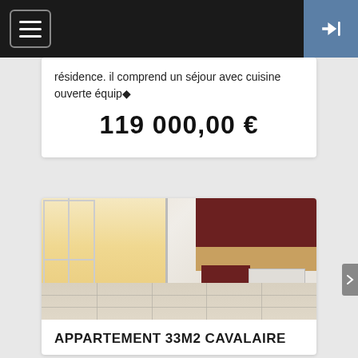Navigation bar with hamburger menu and login button
résidence. il comprend un séjour avec cuisine ouverte équip◆
119 000,00 €
[Figure (photo): Interior photo of an apartment showing an open-plan living area with large sliding glass windows on the left, tiled floor, and a kitchen with dark red/maroon cabinets, backsplash, and white appliances on the right.]
APPARTEMENT 33M2 CAVALAIRE